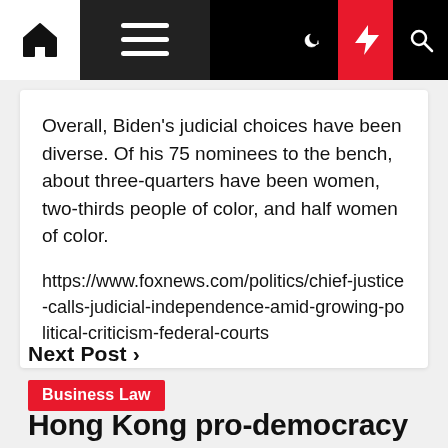[Navigation bar with home, menu, moon, lightning, search icons]
Overall, Biden's judicial choices have been diverse. Of his 75 nominees to the bench, about three-quarters have been women, two-thirds people of color, and half women of color.
https://www.foxnews.com/politics/chief-justice-calls-judicial-independence-amid-growing-political-criticism-federal-courts
Next Post ›
Business Law
Hong Kong pro-democracy Stand News closes after police raids